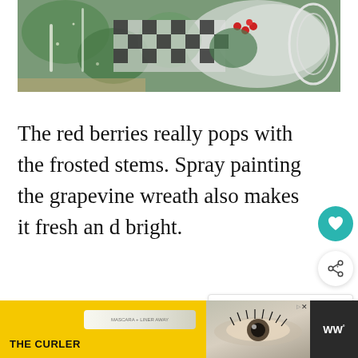[Figure (photo): Close-up photo of a Christmas wreath with frosted green stems, red berries, and black and white buffalo check ribbon, white wire frame visible on right side.]
The red berries really pops with the frosted stems. Spray painting the grapevine wreath also makes it fresh and bright.
[Figure (infographic): WHAT'S NEXT widget showing: How To Make Fun Beachy... with a colorful circular thumbnail image.]
[Figure (photo): Advertisement banner showing THE CURLER product with yellow background, mascara wand product, and close-up eye with long lashes.]